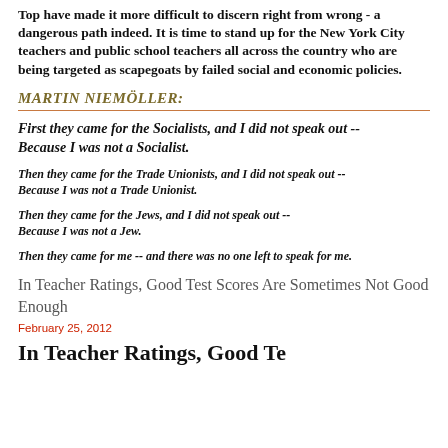Top have made it more difficult to discern right from wrong - a dangerous path indeed. It is time to stand up for the New York City teachers and public school teachers all across the country who are being targeted as scapegoats by failed social and economic policies.
MARTIN NIEMÖLLER:
First they came for the Socialists, and I did not speak out -- Because I was not a Socialist.
Then they came for the Trade Unionists, and I did not speak out -- Because I was not a Trade Unionist.
Then they came for the Jews, and I did not speak out -- Because I was not a Jew.
Then they came for me -- and there was no one left to speak for me.
In Teacher Ratings, Good Test Scores Are Sometimes Not Good Enough
February 25, 2012
In Teacher Ratings, Good Te...